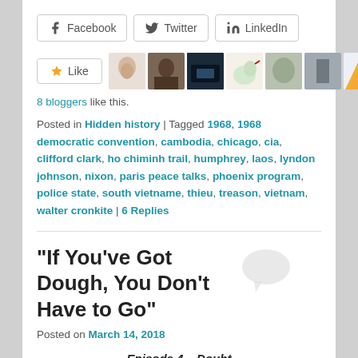[Figure (screenshot): Social sharing buttons: Facebook, Twitter, LinkedIn]
[Figure (screenshot): Like button with star icon and 8 blogger avatar thumbnails]
8 bloggers like this.
Posted in Hidden history | Tagged 1968, 1968 democratic convention, cambodia, chicago, cia, clifford clark, ho chiminh trail, humphrey, laos, lyndon johnson, nixon, paris peace talks, phoenix program, police state, south vietname, thieu, treason, vietnam, walter cronkite | 6 Replies
“If You’ve Got Dough, You Don’t Have to Go”
[Figure (illustration): Speech/comment bubble icon]
Posted on March 14, 2018
Episode 4 – Doubt
The Vietnam War